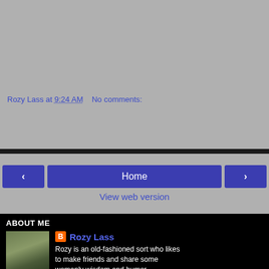Rozy Lass at 9:24 AM   No comments:
Share
Home
View web version
ABOUT ME
[Figure (photo): Profile photo of Rozy Lass, a woman with long brown hair smiling outdoors in a field]
Rozy Lass
Rozy is an old-fashioned sort who likes to make friends and share some womanly wisdom and humor.
View my complete profile